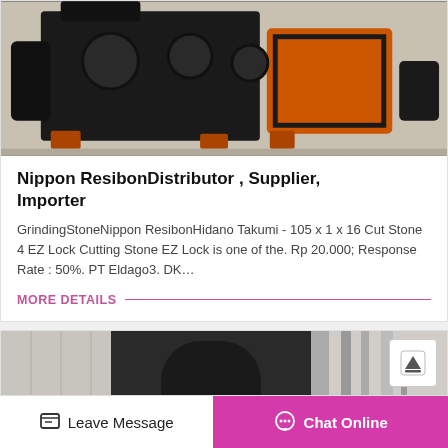[Figure (photo): Industrial grinding/crushing machine, heavy equipment painted black with orange/rust interior, placed outdoors on concrete]
Nippon ResibonDistributor , Supplier, Importer
GrindingStoneNippon ResibonHidano Takumi - 105 x 1 x 16 Cut Stone 4 EZ Lock Cutting Stone EZ Lock is one of the. Rp 20.000; Response Rate : 50%. PT Eldago3. DK…
MORE DETAILS
[Figure (photo): Partially visible industrial equipment or machinery, dark colored, with metal components visible]
Leave Message
Chat Online